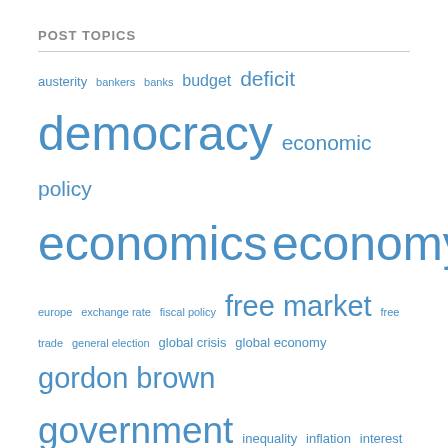POST TOPICS
[Figure (infographic): Tag cloud of post topics with words sized by frequency/importance. Topics include: austerity, bankers, banks, budget, deficit, democracy, economic policy, economics, economy, europe, exchange rate, fiscal policy, free market, free trade, general election, global crisis, global economy, gordon brown, government, inequality, inflation, interest rates, jobs, john key, keynes, labour party, leadership, macro-economic policy, maori, markets, monetarism, monetary policy, money, new labour, new zealand, politicians, politics, poverty, prime minister, recession, rugby, tony blair, uk, unemployment, wealth]
PHOTO GALLERY